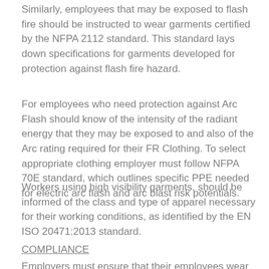Similarly, employees that may be exposed to flash fire should be instructed to wear garments certified by the NFPA 2112 standard. This standard lays down specifications for garments developed for protection against flash fire hazard.
For employees who need protection against Arc Flash should know of the intensity of the radiant energy that they may be exposed to and also of the Arc rating required for their FR Clothing. To select appropriate clothing employer must follow NFPA 70E standard, which outlines specific PPE needed for electric arc flash and arc blast risk potentials.
Workers using high visibility garments, should be informed of the class and type of apparel necessary for their working conditions, as identified by the EN ISO 20471:2013 standard.
COMPLIANCE
Employers must ensure that their employees wear FR